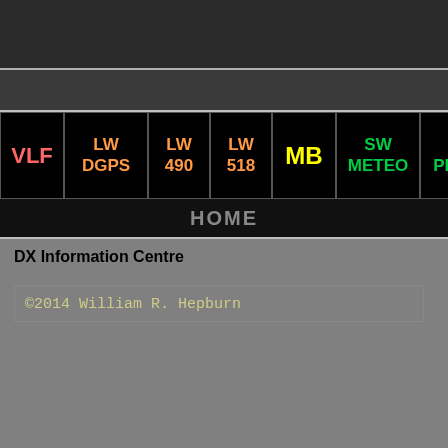[Figure (screenshot): Navigation bar with buttons: VLF (red), LW DGPS (orange), LW 490 (orange), LW 518 (orange), MB (yellow), SW METEO (green), SW PRESS (green), HOME bar below]
DX Information Centre
©2014 William R. Hepburn